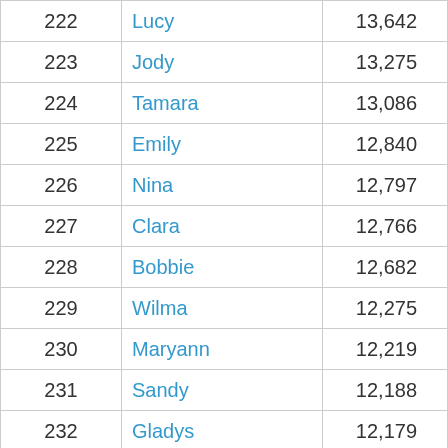| 222 | Lucy | 13,642 |
| 223 | Jody | 13,275 |
| 224 | Tamara | 13,086 |
| 225 | Emily | 12,840 |
| 226 | Nina | 12,797 |
| 227 | Clara | 12,766 |
| 228 | Bobbie | 12,682 |
| 229 | Wilma | 12,275 |
| 230 | Maryann | 12,219 |
| 231 | Sandy | 12,188 |
| 232 | Gladys | 12,179 |